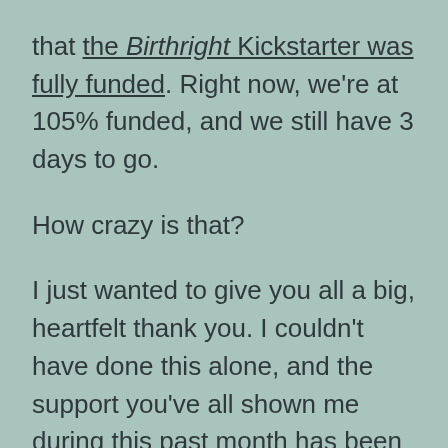that the Birthright Kickstarter was fully funded. Right now, we're at 105% funded, and we still have 3 days to go.
How crazy is that?
I just wanted to give you all a big, heartfelt thank you. I couldn't have done this alone, and the support you've all shown me during this past month has been nothing but spectacular. I've learned a lot, made a lot of new friends, and connected with more than a couple old ones.